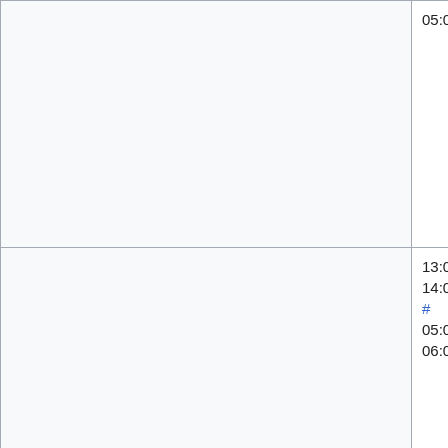| (col1) | Time | Event | Who |
| --- | --- | --- | --- |
|  | 05:00 PST | patches) | (Dereckson), (thcipriani) Niharika (Niha or Željko (zelj |
|  | 13:00–14:00 UTC # 05:00–06:00 PST | Pre MediaWiki train sanity break |  |
|  | 14:00–16:00 UTC # 06:00–08:00 PST | MediaWiki train - European version | Antoine (hasha |
|  | 17:00–18:00 UTC | Puppet |  |